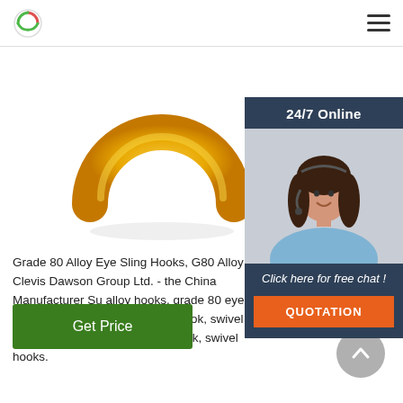Logo and navigation menu
[Figure (photo): Yellow/gold colored alloy eye sling hook ring viewed from above, U-shaped metal ring with yellow powder coat finish on white background]
[Figure (photo): 24/7 Online chat widget with photo of smiling female customer service representative wearing headset, dark blue background, with 'Click here for free chat!' text and orange QUOTATION button]
Grade 80 Alloy Eye Sling Hooks, G80 Alloy Clevis Dawson Group Ltd. - the China Manufacturer Su alloy hooks, grade 80 eye sling hook, g80 clevis s swivel hook, swivel self locking hook, g80 hooks, hook, swivel hooks.
Get Price